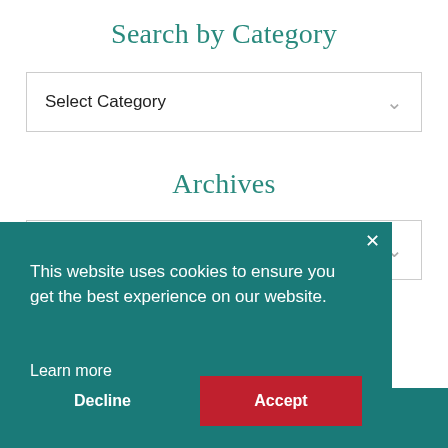Search by Category
Select Category
Archives
This website uses cookies to ensure you get the best experience on our website.

Learn more
Decline
Accept
Let's Stay Connected